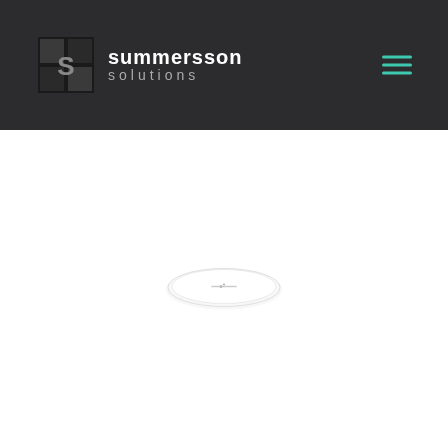summersson solutions
[Figure (logo): Summersson Solutions logo: dark square grid logo icon on the left, company name 'summersson' in bold white text and 'solutions' in gray spaced text below, hamburger menu icon with teal/green lines on the right, all on a dark charcoal background]
[Figure (photo): Small white oval or elliptical object, possibly a device or sensor, centered in the white content area below the header]